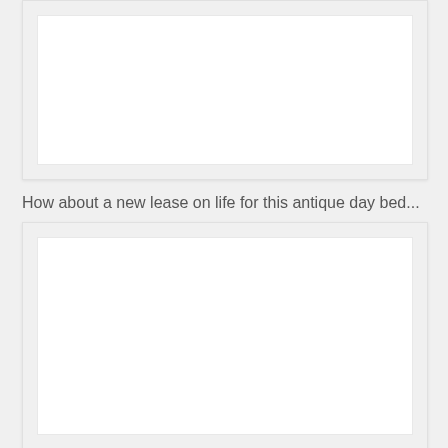[Figure (photo): Top image block, mostly white/blank photo area]
How about a new lease on life for this antique day bed...
[Figure (photo): Bottom image block, mostly white/blank photo area]